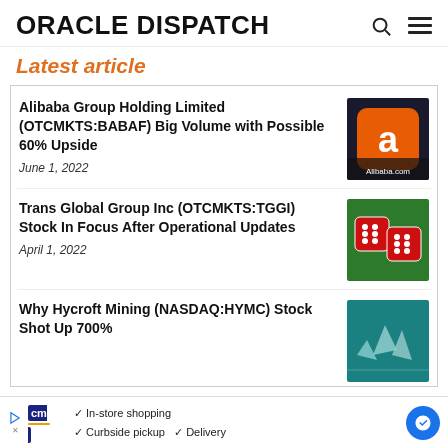ORACLE DISPATCH
Latest article
Alibaba Group Holding Limited (OTCMKTS:BABAF) Big Volume with Possible 60% Upside
June 1, 2022
[Figure (photo): Alibaba app icon showing orange logo with 'a' and Alibaba.com branding]
Trans Global Group Inc (OTCMKTS:TGGI) Stock In Focus After Operational Updates
April 1, 2022
[Figure (photo): Two red dice on green background]
Why Hycroft Mining (NASDAQ:HYMC) Stock Shot Up 700%
[Figure (photo): Teal/blue background with financial imagery]
In-store shopping  Curbside pickup  Delivery